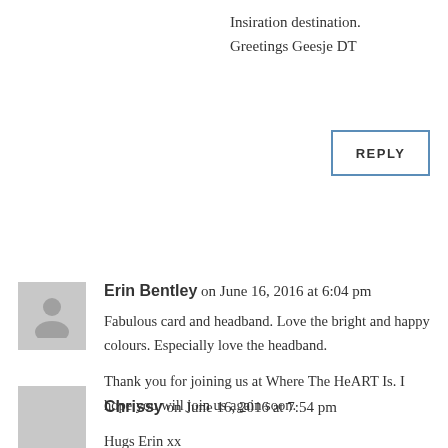Insiration destination.
Greetings Geesje DT
REPLY
Erin Bentley on June 16, 2016 at 6:04 pm
Fabulous card and headband. Love the bright and happy colours. Especially love the headband.

Thank you for joining us at Where The HeART Is. I hope you will join us again soon.

Hugs Erin xx
REPLY
Chrissy on June 16, 2016 at 7:54 pm